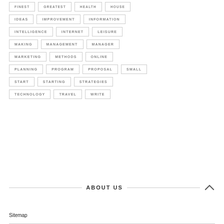FINEST GREATEST HEALTH HOUSE
IDEAS IMPROVEMENT INFORMATION
INTELLIGENCE INTERNET LEISURE
MAKING MANAGEMENT MANAGER
MARKETING METHODS ONLINE
PLANNING PROGRAM PROPOSAL SMALL
START STARTING STRATEGIES
TECHNOLOGY TRAVEL WRITE
ABOUT US
Sitemap